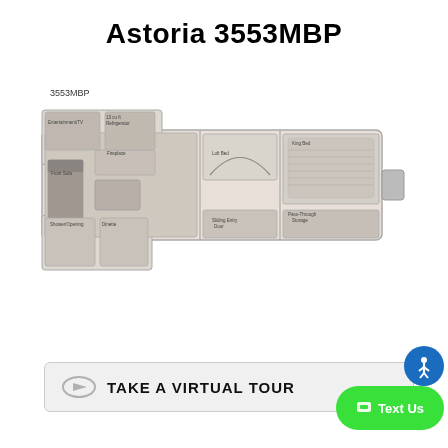Astoria 3553MBP
3553MBP
[Figure (floorplan): RV floor plan for Astoria 3553MBP showing layout with living area, loft bed, king bed, shower/opening, dinette, pass-through storage, entertainment, and refrigerator areas.]
TAKE A VIRTUAL TOUR
Text Us